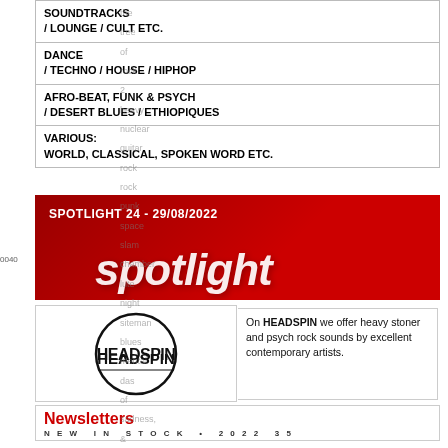| SOUNDTRACKS
/ LOUNGE / CULT ETC. |
| DANCE
/ TECHNO / HOUSE / HIPHOP |
| AFRO-BEAT, FUNK & PSYCH
/ DESERT BLUES / ETHIOPIQUES |
| VARIOUS:
WORLD, CLASSICAL, SPOKEN WORD ETC. |
[Figure (infographic): Red banner with white text: SPOTLIGHT 24 - 29/08/2022 and large italic white text 'spotlight' on red background with diagonal dark stripe]
[Figure (logo): Headspin Records logo in black circular badge style]
On HEADSPIN we offer heavy stoner and psych rock sounds by excellent contemporary artists.
Newsletters
NEW IN STOCK • 2022 35